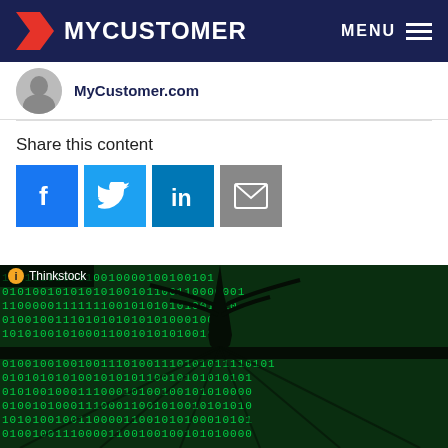MYCUSTOMER | MENU
MyCustomer.com
Share this content
[Figure (screenshot): Social share buttons: Facebook (blue), Twitter (light blue), LinkedIn (dark blue), Email (grey)]
[Figure (photo): Binary code (zeros and ones in green) arranged in a tree-like pattern on a dark background. Thinkstock watermark in corner.]